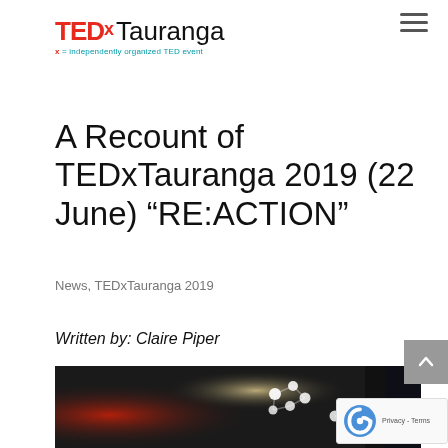TEDx Tauranga
A Recount of TEDxTauranga 2019 (22 June) “RE:ACTION”
News, TEDxTauranga 2019
Written by: Claire Piper
[Figure (photo): Dark moody photo of a stage or event space with bokeh light clusters (molecular structure shaped lights) and red glow on the left side]